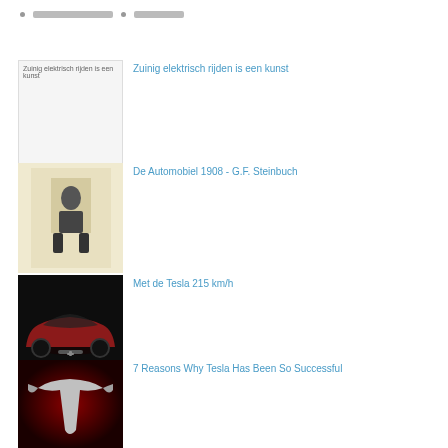Zuinig elektrisch rijden is een kunst
De Automobiel 1908 - G.F. Steinbuch
Met de Tesla 215 km/h
7 Reasons Why Tesla Has Been So Successful